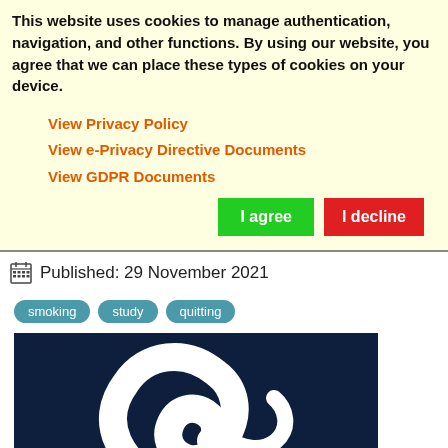This website uses cookies to manage authentication, navigation, and other functions. By using our website, you agree that we can place these types of cookies on your device.
View Privacy Policy
View e-Privacy Directive Documents
View GDPR Documents
Published: 29 November 2021
smoking  study  quitting
[Figure (logo): Dark navy blue background with a white stylized letter or symbol logo mark (partial view).]